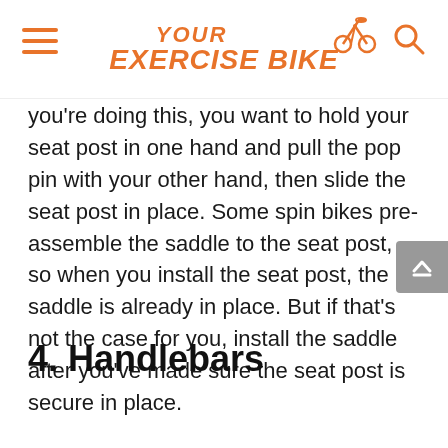YOUR EXERCISE BIKE
you're doing this, you want to hold your seat post in one hand and pull the pop pin with your other hand, then slide the seat post in place. Some spin bikes pre-assemble the saddle to the seat post, so when you install the seat post, the saddle is already in place. But if that's not the case for you, install the saddle after you've made sure the seat post is secure in place.
4. Handlebars